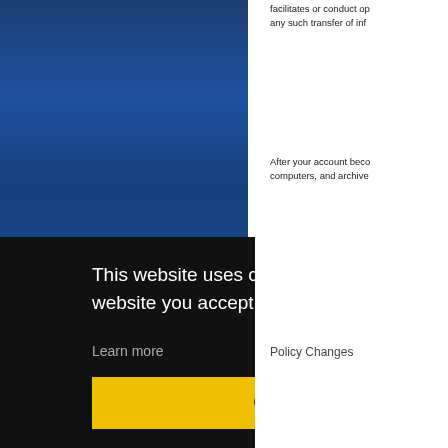facilitates or conduct operations, any such transfer of inf...
After your account beco... computers, and archive...
Policy Changes
These policies may be a... this...
...at your con... ...ur consent...
...te: 11/18/2...
...rmation:
Dave Mosher
1220G Airport Fwy #4...
This website uses cookies. By using this website you accept the use of cookies.
Learn more
Got it!